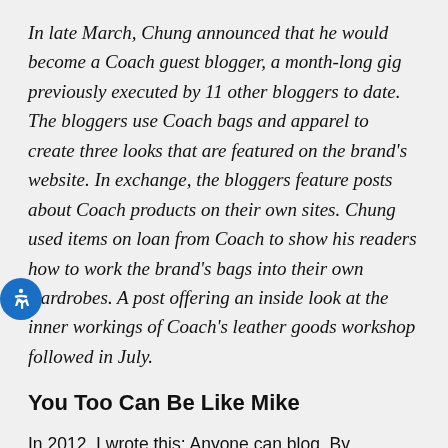In late March, Chung announced that he would become a Coach guest blogger, a month-long gig previously executed by 11 other bloggers to date. The bloggers use Coach bags and apparel to create three looks that are featured on the brand's website. In exchange, the bloggers feature posts about Coach products on their own sites. Chung used items on loan from Coach to show his readers how to work the brand's bags into their own wardrobes. A post offering an inside look at the inner workings of Coach's leather goods workshop followed in July.
You Too Can Be Like Mike
In 2012, I wrote this: Anyone can blog. By definition, that means anyone can be like Mike. Talking, endorsing, and talking again. It's a beautiful world we live in.
According to APPAREL, Chung declined to say whether